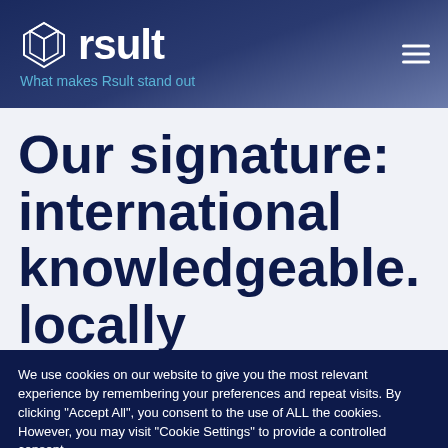[Figure (logo): Rsult company logo with cube icon and tagline 'What makes Rsult stand out']
Our signature: international knowledgeable. locally
We use cookies on our website to give you the most relevant experience by remembering your preferences and repeat visits. By clicking "Accept All", you consent to the use of ALL the cookies. However, you may visit "Cookie Settings" to provide a controlled consent.